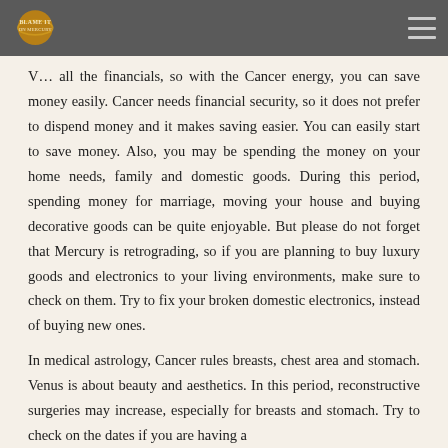Blame It On Mercury
all the financials, so with the Cancer energy, you can save money easily. Cancer needs financial security, so it does not prefer to dispend money and it makes saving easier. You can easily start to save money. Also, you may be spending the money on your home needs, family and domestic goods. During this period, spending money for marriage, moving your house and buying decorative goods can be quite enjoyable. But please do not forget that Mercury is retrograding, so if you are planning to buy luxury goods and electronics to your living environments, make sure to check on them. Try to fix your broken domestic electronics, instead of buying new ones.
In medical astrology, Cancer rules breasts, chest area and stomach. Venus is about beauty and aesthetics. In this period, reconstructive surgeries may increase, especially for breasts and stomach. Try to check on the dates if you are having a